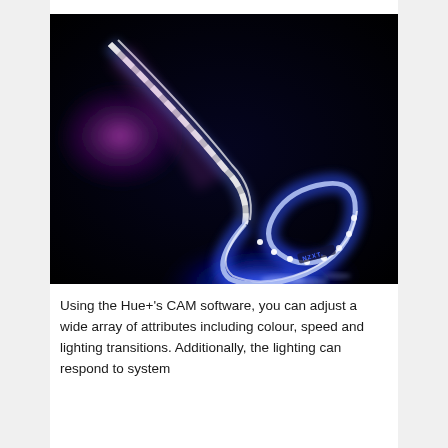[Figure (photo): A glowing NZXT LED light strip coiled on a dark surface, emitting bright blue and purple light, with the NZXT logo visible on the strip.]
Using the Hue+'s CAM software, you can adjust a wide array of attributes including colour, speed and lighting transitions. Additionally, the lighting can respond to system